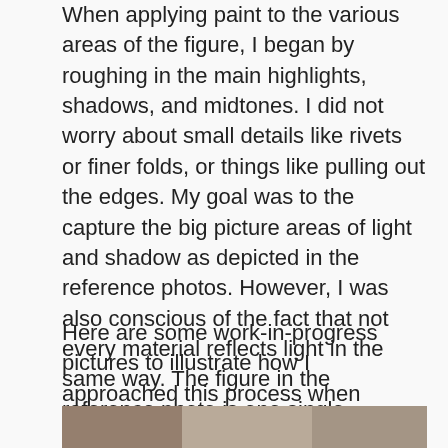When applying paint to the various areas of the figure, I began by roughing in the main highlights, shadows, and midtones. I did not worry about small details like rivets or finer folds, or things like pulling out the edges. My goal was to the capture the big picture areas of light and shadow as depicted in the reference photos. However, I was also conscious of the fact that not every material reflects light in the same way. The figure in the reference photo is one single material – primed metal. But in painting the figure I was trying to create the appearance of several different materials – metal, leather, cloth, skin, hair, etc. So I had to consider the nature of each of those materials and factor that in to the appearance of light and shadow upon them.
Here are some work-in-progress pictures to illustrate how I approached this process when painting the non-metallic metal areas of the figure.
[Figure (photo): Bottom strip showing partial view of a miniature figure painting work-in-progress]